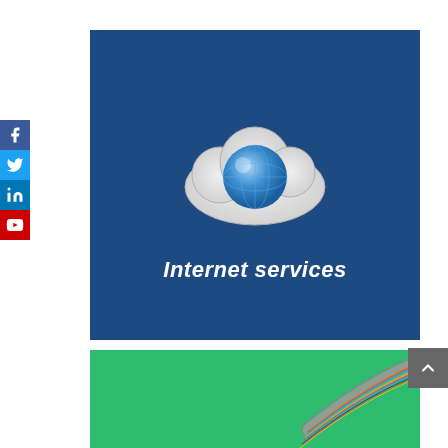[Figure (illustration): Social media sidebar with Facebook, Twitter, LinkedIn, and YouTube buttons]
[Figure (illustration): Dark blue rectangle banner with cloud and globe icon graphic above text reading 'Internet services']
[Figure (illustration): Green rectangle with fiber optic cable bundle image partially visible]